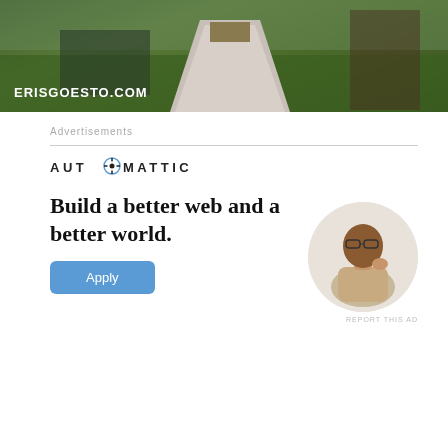[Figure (photo): Outdoor photo of a marble monument/obelisk on grass with text overlay 'ERISGOESTO.COM' in white bold letters at bottom left]
Advertisements
[Figure (logo): AUTOMATTIC logo with stylized 'O' containing compass/target icon, in bold uppercase spaced letters]
Build a better web and a better world.
Apply
[Figure (photo): Circular cropped photo of a young Black man wearing glasses, looking upward thoughtfully, in a beige/tan shirt]
REPORT THIS AD